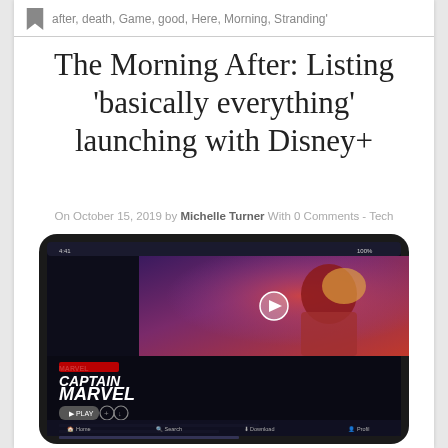after, death, Game, good, Here, Morning, Stranding'
The Morning After: Listing 'basically everything' launching with Disney+
On October 15, 2019 by Michelle Turner With 0 Comments - Tech
[Figure (photo): A tablet (iPad) displaying the Disney+ app showing Captain Marvel movie page, with a large movie trailer thumbnail at the top featuring a woman in a superhero costume.]